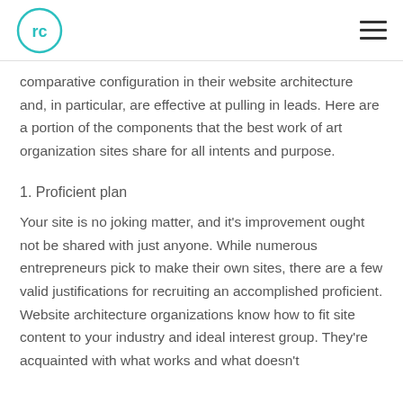RC logo | hamburger menu
comparative configuration in their website architecture and, in particular, are effective at pulling in leads. Here are a portion of the components that the best work of art organization sites share for all intents and purpose.
1. Proficient plan
Your site is no joking matter, and it's improvement ought not be shared with just anyone. While numerous entrepreneurs pick to make their own sites, there are a few valid justifications for recruiting an accomplished proficient. Website architecture organizations know how to fit site content to your industry and ideal interest group. They're acquainted with what works and what doesn't